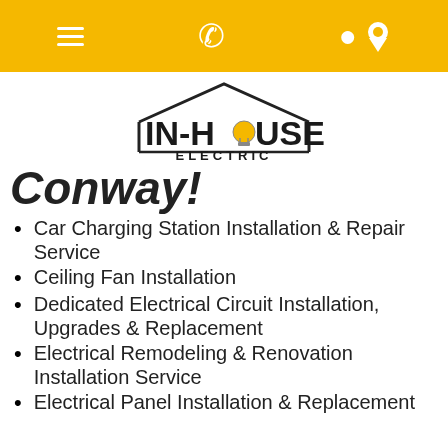Navigation bar with hamburger menu, phone icon, and location pin icon
[Figure (logo): In-House Electric logo with house outline and lightbulb replacing the 'O' in HOUSE]
Conway!
Car Charging Station Installation & Repair Service
Ceiling Fan Installation
Dedicated Electrical Circuit Installation, Upgrades & Replacement
Electrical Remodeling & Renovation Installation Service
Electrical Panel Installation & Replacement